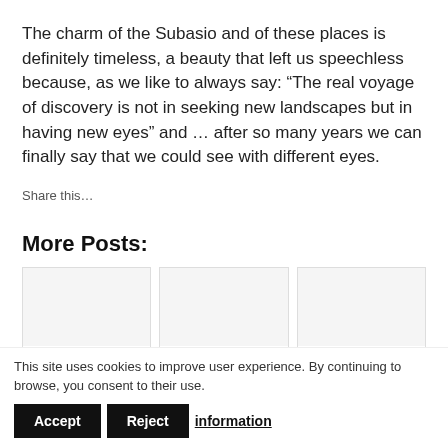The charm of the Subasio and of these places is definitely timeless, a beauty that left us speechless because, as we like to always say: “The real voyage of discovery is not in seeking new landscapes but in having new eyes” and … after so many years we can finally say that we could see with different eyes.
Share this…
More Posts:
[Figure (other): Thumbnail image placeholder for Hiking to summit post card]
Hiking to summit
[Figure (other): Thumbnail image placeholder for Paragliding in post card]
Paragliding in
[Figure (other): Thumbnail image placeholder for Excursions on post card]
Excursions on
This site uses cookies to improve user experience. By continuing to browse, you consent to their use.
Accept
Reject
information